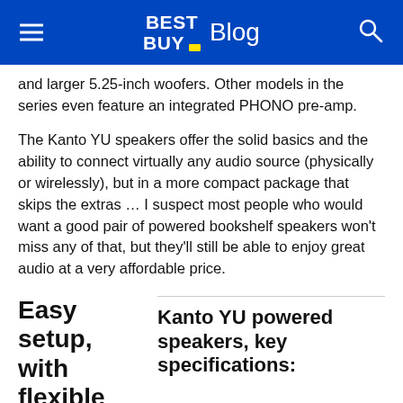BEST BUY Blog
and larger 5.25-inch woofers. Other models in the series even feature an integrated PHONO pre-amp.
The Kanto YU speakers offer the solid basics and the ability to connect virtually any audio source (physically or wirelessly), but in a more compact package that skips the extras ... I suspect most people who would want a good pair of powered bookshelf speakers won't miss any of that, but they'll still be able to enjoy great audio at a very affordable price.
Easy setup, with flexible
Kanto YU powered speakers, key specifications: